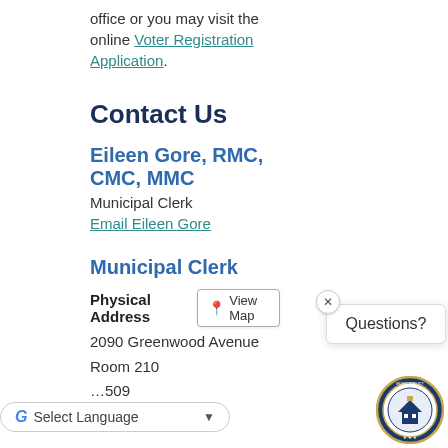office or you may visit the online Voter Registration Application.
Contact Us
Eileen Gore, RMC, CMC, MMC
Municipal Clerk
Email Eileen Gore
Municipal Clerk
Physical Address
2090 Greenwood Avenue
Room 210
Questions?
[Figure (logo): Municipal seal/logo in bottom right corner]